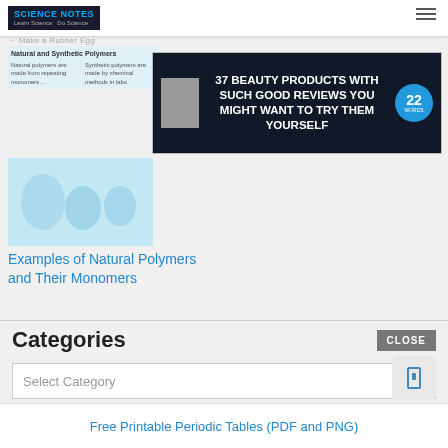SCIENCE NOTES - Learn Science Do Science
← Make a Rubber Egg
Natural and Synthetic Polymers
[Figure (screenshot): Advertisement banner: 37 BEAUTY PRODUCTS WITH SUCH GOOD REVIEWS YOU MIGHT WANT TO TRY THEM YOURSELF with 22 Words badge]
[Figure (photo): Examples of Natural Polymers card image with light blue background showing polymer illustrations]
Examples of Natural Polymers and Their Monomers
Categories
Select Category
Free Printable Periodic Tables (PDF and PNG)